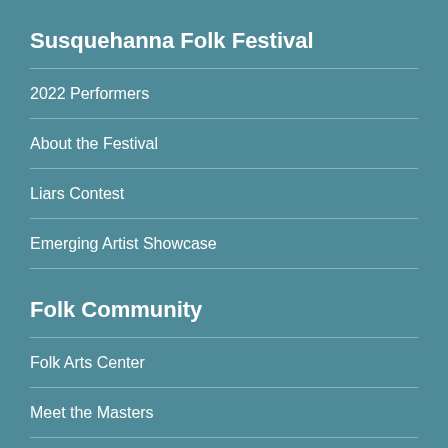Susquehanna Folk Festival
2022 Performers
About the Festival
Liars Contest
Emerging Artist Showcase
Folk Community
Folk Arts Center
Meet the Masters